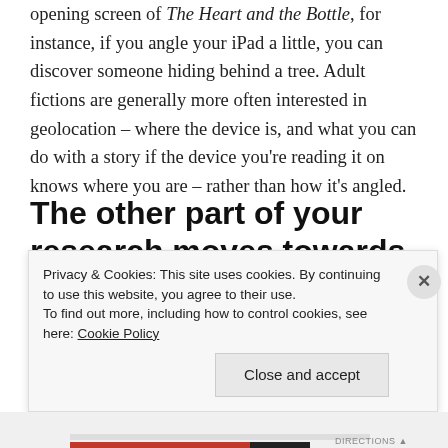opening screen of The Heart and the Bottle, for instance, if you angle your iPad a little, you can discover someone hiding behind a tree. Adult fictions are generally more often interested in geolocation – where the device is, and what you can do with a story if the device you're reading it on knows where you are – rather than how it's angled.
The other part of your research moves towards interaction
between authors and readers on
Privacy & Cookies: This site uses cookies. By continuing to use this website, you agree to their use.
To find out more, including how to control cookies, see here: Cookie Policy
Close and accept